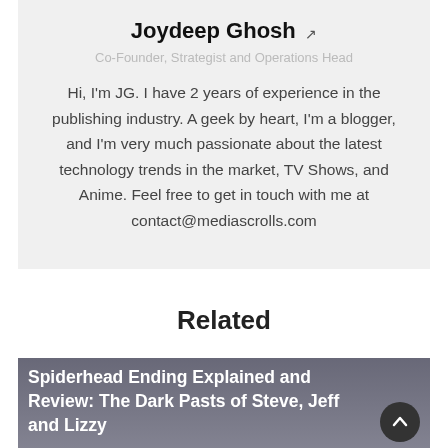Joydeep Ghosh
Co-Founder, Strategist and Operations Head
Hi, I'm JG. I have 2 years of experience in the publishing industry. A geek by heart, I'm a blogger, and I'm very much passionate about the latest technology trends in the market, TV Shows, and Anime. Feel free to get in touch with me at contact@mediascrolls.com
Related
Spiderhead Ending Explained and Review: The Dark Pasts of Steve, Jeff and Lizzy